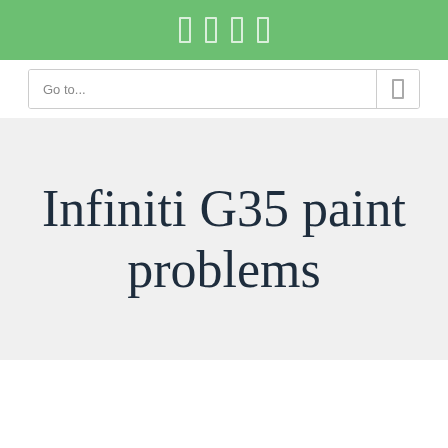navigation icons
Go to...
Infiniti G35 paint problems